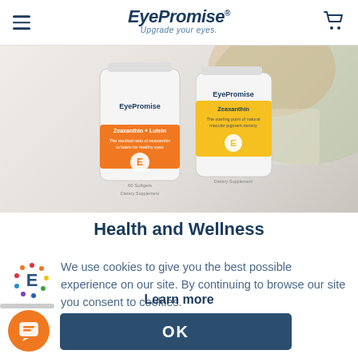EyePromise — Upgrade your eyes.
[Figure (photo): Two EyePromise supplement bottles: one Zeaxanthin + Lutein (orange label) and one Zeaxanthin (yellow label), with a food background image partially visible.]
Health and Wellness
[Figure (logo): EyePromise E logo icon with colorful dots arranged in a circle]
We use cookies to give you the best possible experience on our site. By continuing to browse our site you consent to cookies.
Learn more
OK